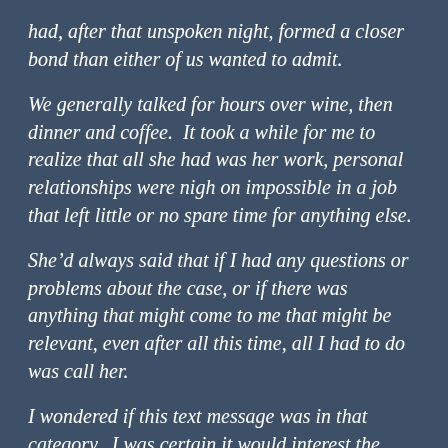had, after that unspoken night, formed a closer bond than either of us wanted to admit.
We generally talked for hours over wine, then dinner and coffee.  It took a while for me to realize that all she had was her work, personal relationships were nigh on impossible in a job that left little or no spare time for anything else.
She’d always said that if I had any questions or problems about the case, or if there was anything that might come to me that might be relevant, even after all this time, all I had to do was call her.
I wondered if this text message was in that category.  I was certain it would interest the police and I had no doubt they could trace the